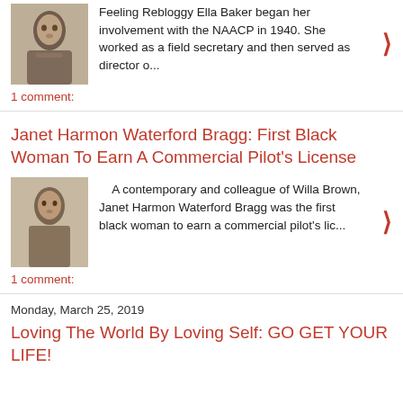Feeling Rebloggy Ella Baker began her involvement with the NAACP in 1940. She worked as a field secretary and then served as director o...
1 comment:
Janet Harmon Waterford Bragg: First Black Woman To Earn A Commercial Pilot's License
A contemporary and colleague of Willa Brown, Janet Harmon Waterford Bragg was the first black woman to earn a commercial pilot's lic...
1 comment:
Monday, March 25, 2019
Loving The World By Loving Self: GO GET YOUR LIFE!